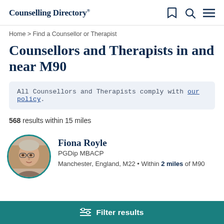Counselling Directory
Home > Find a Counsellor or Therapist
Counsellors and Therapists in and near M90
All Counsellors and Therapists comply with our policy.
568 results within 15 miles
Fiona Royle
PGDip MBACP
Manchester, England, M22 • Within 2 miles of M90
Filter results